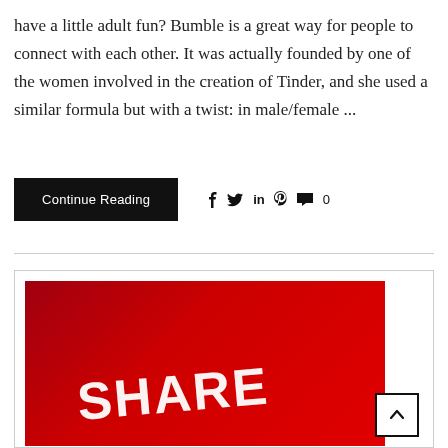have a little adult fun? Bumble is a great way for people to connect with each other. It was actually founded by one of the women involved in the creation of Tinder, and she used a similar formula but with a twist: in male/female ...
Continue Reading
f  in  0
[Figure (other): Red banner image with large white bold text reading SHARE, partially visible, diagonal orientation. A scroll-to-top button with an upward arrow is visible in the bottom right corner.]